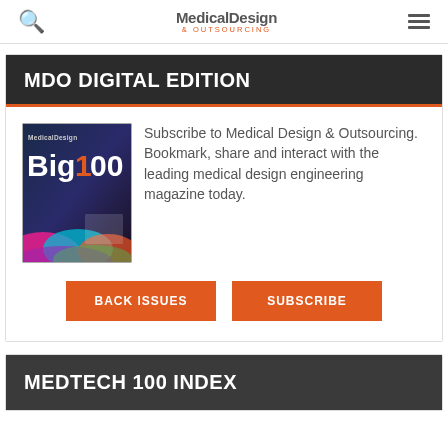Medical Design & Outsourcing
MDO DIGITAL EDITION
Subscribe to Medical Design & Outsourcing. Bookmark, share and interact with the leading medical design engineering magazine today.
[Figure (illustration): Medical Design Big100 magazine cover]
BACK ISSUES
SUBSCRIBE
MEDTECH 100 INDEX